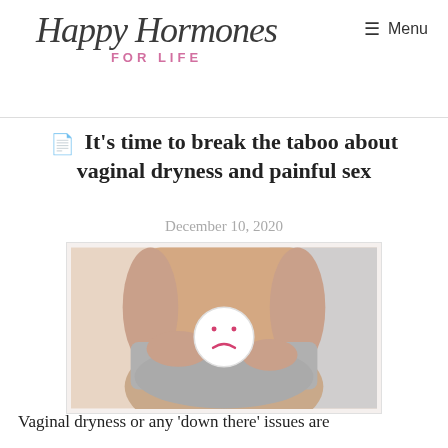Happy Hormones FOR LIFE | Menu
It's time to break the taboo about vaginal dryness and painful sex
December 10, 2020
[Figure (photo): Woman in grey underwear holding a sad face emoji in front of her lower abdomen, representing pelvic discomfort or vaginal dryness.]
Vaginal dryness or any 'down there' issues are